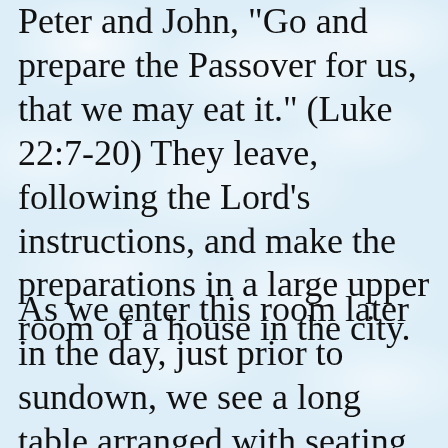Peter and John, "Go and prepare the Passover for us, that we may eat it." (Luke 22:7-20) They leave, following the Lord's instructions, and make the preparations in a large upper room of a house in the city.
As we enter this room later in the day, just prior to sundown, we see a long table arranged with seating for fourteen people.